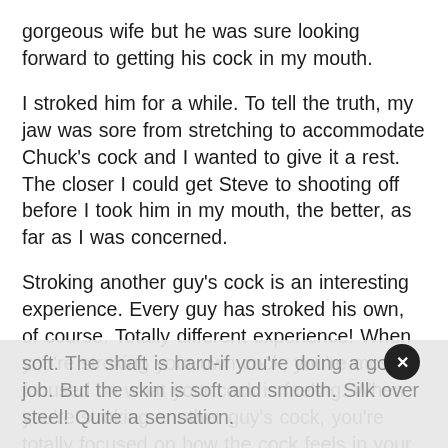gorgeous wife but he was sure looking forward to getting his cock in my mouth.
I stroked him for a while. To tell the truth, my jaw was sore from stretching to accommodate Chuck's cock and I wanted to give it a rest. The closer I could get Steve to shooting off before I took him in my mouth, the better, as far as I was concerned.
Stroking another guy's cock is an interesting experience. Every guy has stroked his own, of course. Totally different experience! When you're stroking your own cock, you're mostly focused on what your cock is feeling. When you're stroking another guy's cock, you're totally focused on how the cock feels in your hand.
It's a combination of extremely hard and extremely soft. The shaft is hard-if you're doing a good job. But the skin is soft and smooth. Silk over steel! Quite a sensation.